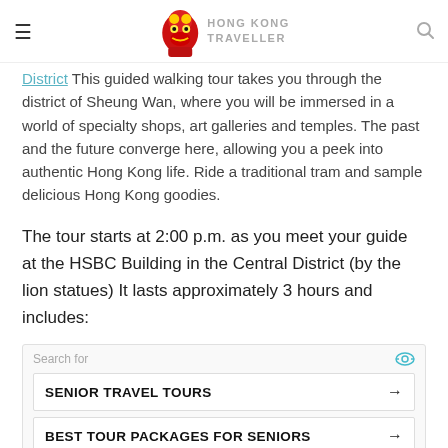HONG KONG TRAVELLER
District This guided walking tour takes you through the district of Sheung Wan, where you will be immersed in a world of specialty shops, art galleries and temples. The past and the future converge here, allowing you a peek into authentic Hong Kong life. Ride a traditional tram and sample delicious Hong Kong goodies.
The tour starts at 2:00 p.m. as you meet your guide at the HSBC Building in the Central District (by the lion statues) It lasts approximately 3 hours and includes:
[Figure (screenshot): Advertisement widget with 'Search for' label and two search result rows: 'SENIOR TRAVEL TOURS' and 'BEST TOUR PACKAGES FOR SENIORS']